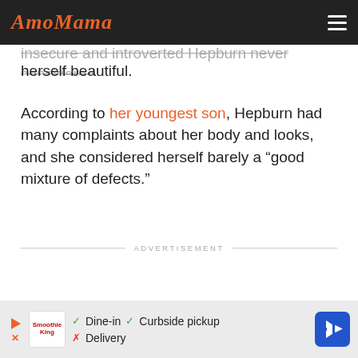AmoMama
insecure and introverted Hepburn never considered herself beautiful.
According to her youngest son, Hepburn had many complaints about her body and looks, and she considered herself barely a “good mixture of defects.”
ADVERTISEMENT